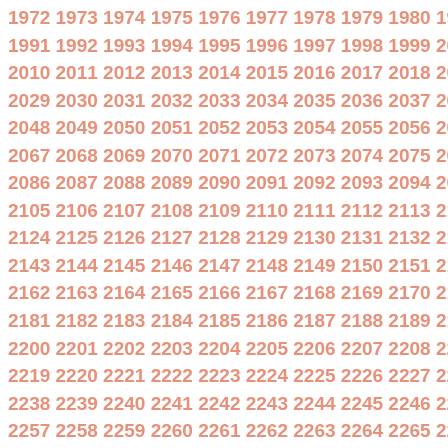Grid of sequential numbers from 1972 to approximately 2380, arranged in rows of 13 numbers each, displayed in salmon/coral color on white background.